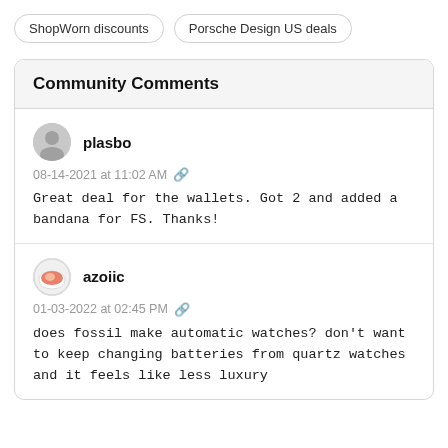ShopWorn discounts
Porsche Design US deals
Community Comments
plasbo
08-14-2021 at 11:02 AM
Great deal for the wallets. Got 2 and added a bandana for FS. Thanks!
azoiic
01-03-2022 at 02:45 PM
does fossil make automatic watches? don't want to keep changing batteries from quartz watches and it feels like less luxury